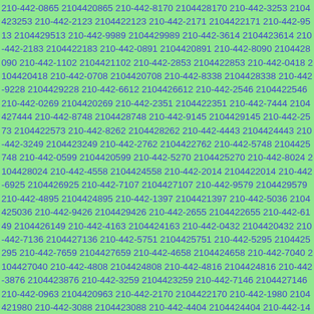210-442-0865 2104420865 210-442-8170 2104428170 210-442-3253 2104423253 210-442-2123 2104422123 210-442-2171 2104422171 210-442-9513 2104429513 210-442-9989 2104429989 210-442-3614 2104423614 210-442-2183 2104422183 210-442-0891 2104420891 210-442-8090 2104428090 210-442-1102 2104421102 210-442-2853 2104422853 210-442-0418 2104420418 210-442-0708 2104420708 210-442-8338 2104428338 210-442-9228 2104429228 210-442-6612 2104426612 210-442-2546 2104422546 210-442-0269 2104420269 210-442-2351 2104422351 210-442-7444 2104427444 210-442-8748 2104428748 210-442-9145 2104429145 210-442-2573 2104422573 210-442-8262 2104428262 210-442-4443 2104424443 210-442-3249 2104423249 210-442-2762 2104422762 210-442-5748 2104425748 210-442-0599 2104420599 210-442-5270 2104425270 210-442-8024 2104428024 210-442-4558 2104424558 210-442-2014 2104422014 210-442-6925 2104426925 210-442-7107 2104427107 210-442-9579 2104429579 210-442-4895 2104424895 210-442-1397 2104421397 210-442-5036 2104425036 210-442-9426 2104429426 210-442-2655 2104422655 210-442-6149 2104426149 210-442-4163 2104424163 210-442-0432 2104420432 210-442-7136 2104427136 210-442-5751 2104425751 210-442-5295 2104425295 210-442-7659 2104427659 210-442-4658 2104424658 210-442-7040 2104427040 210-442-4808 2104424808 210-442-4816 2104424816 210-442-3876 2104423876 210-442-3259 2104423259 210-442-7146 2104427146 210-442-0963 2104420963 210-442-2170 2104422170 210-442-1980 2104421980 210-442-3088 2104423088 210-442-4404 2104424404 210-442-1468